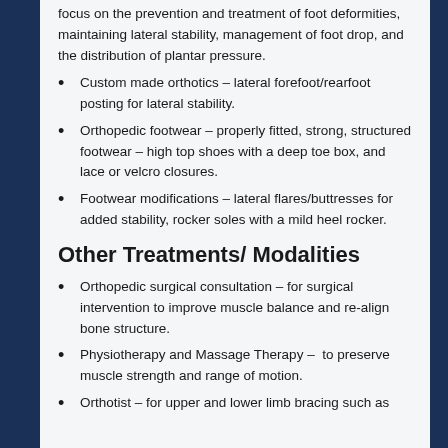focus on the prevention and treatment of foot deformities, maintaining lateral stability, management of foot drop, and the distribution of plantar pressure.
Custom made orthotics – lateral forefoot/rearfoot posting for lateral stability.
Orthopedic footwear – properly fitted, strong, structured footwear – high top shoes with a deep toe box, and lace or velcro closures.
Footwear modifications – lateral flares/buttresses for added stability, rocker soles with a mild heel rocker.
Other Treatments/ Modalities
Orthopedic surgical consultation – for surgical intervention to improve muscle balance and re-align bone structure.
Physiotherapy and Massage Therapy –  to preserve muscle strength and range of motion.
Orthotist – for upper and lower limb bracing such as